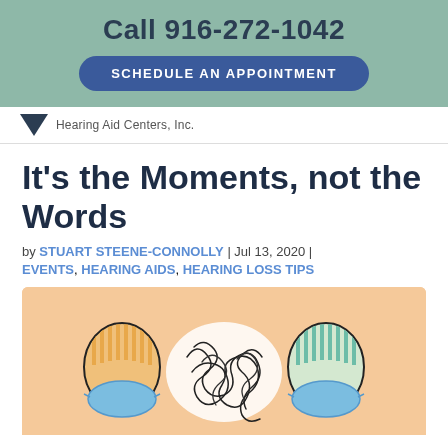Call 916-272-1042
SCHEDULE AN APPOINTMENT
[Figure (logo): Hearing Aid Centers, Inc. logo with downward-pointing triangle]
It's the Moments, not the Words
by STUART STEENE-CONNOLLY | Jul 13, 2020 | EVENTS, HEARING AIDS, HEARING LOSS TIPS
[Figure (illustration): Illustration of two people wearing face masks with a tangled mess of scribbles between them representing communication difficulty, on a peach/orange background]